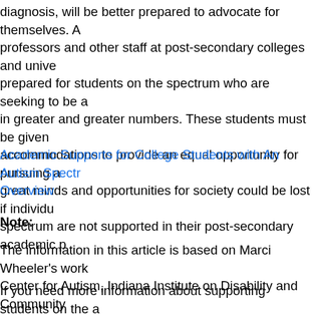diagnosis, will be better prepared to advocate for themselves. A professors and other staff at post-secondary colleges and universities prepared for students on the spectrum who are seeking to be a in greater and greater numbers. These students must be given accommodations to provide an equal opportunity for pursuing a great minds and opportunities for society could be lost if individuals on the spectrum are not supported in their post-secondary academic pursuits.
Academic Supports for College Students with An Autism Spectrum Disorder: Overview
Note:
The information in this article is based on Marci Wheeler's work at the Indiana Resource Center for Autism, Indiana Institute on Disability and Community, Indiana University – Bloomington; including her role as Advisor for the Students on the Autism Network at Indiana University – Bloomington.
If you need more information about supporting students on the autism spectrum in a university/college setting, please contact your local autism organization.